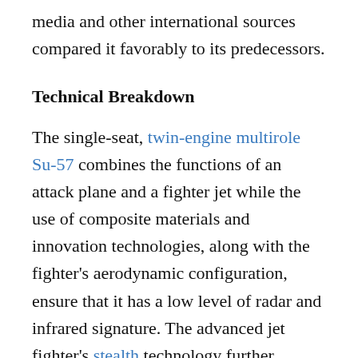media and other international sources compared it favorably to its predecessors.
Technical Breakdown
The single-seat, twin-engine multirole Su-57 combines the functions of an attack plane and a fighter jet while the use of composite materials and innovation technologies, along with the fighter's aerodynamic configuration, ensure that it has a low level of radar and infrared signature. The advanced jet fighter's stealth technology further utilizes a broad range of composite materials, while the aircraft is capable of